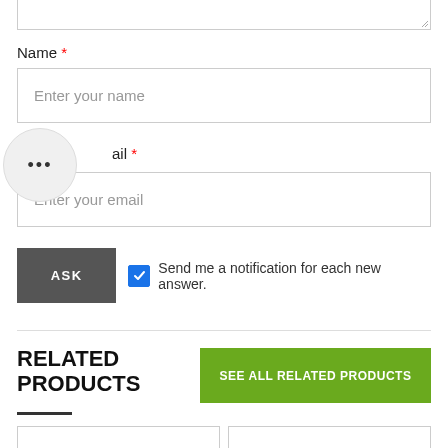[Figure (screenshot): Top portion of a form text area (partially visible at top of page)]
Name *
[Figure (screenshot): Text input field with placeholder 'Enter your name']
[Figure (screenshot): Tooltip bubble with dots (•••) overlapping the Email label area]
Email *
[Figure (screenshot): Text input field with placeholder 'Enter your email']
[Figure (screenshot): ASK button (dark gray) and a checked checkbox with label 'Send me a notification for each new answer.']
RELATED PRODUCTS
[Figure (screenshot): Green button labeled 'SEE ALL RELATED PRODUCTS']
[Figure (screenshot): Two product card outlines partially visible at bottom of page]